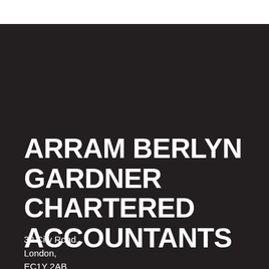ARRAM BERLYN GARDNER CHARTERED ACCOUNTANTS
30 City Road,
London,
EC1Y 2AB